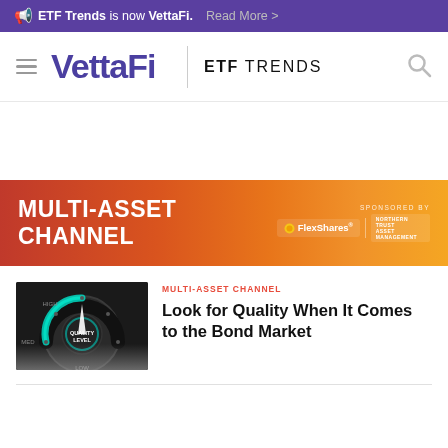ETF Trends is now VettaFi. Read More >
[Figure (logo): VettaFi logo with hamburger menu, ETF TRENDS text and search icon navigation bar]
[Figure (infographic): Multi-Asset Channel banner with red-to-orange gradient, sponsored by FlexShares]
MULTI-ASSET CHANNEL
Look for Quality When It Comes to the Bond Market
[Figure (photo): Dark dial gauge showing QUALITY LEVEL with HIGH, MED, LOW labels and a glowing blue-green indicator]